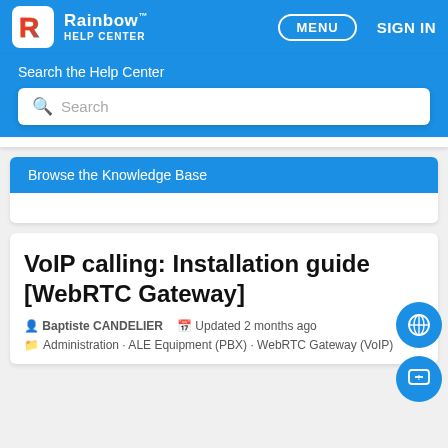Rainbow HELP CENTER | MENU | SIGN IN
Search the Help Center
Search
Browse the Knowledge Base
VoIP calling: Installation guide [WebRTC Gateway]
Baptiste CANDELIER   Updated 2 months ago
Administration · ALE Equipment (PBX) · WebRTC Gateway (VoIP)